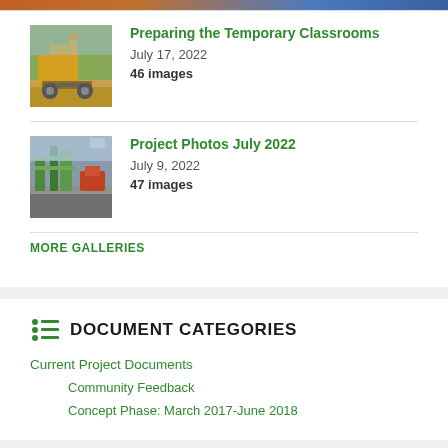[Figure (photo): Partial top strip of a colorful image at the very top of the page]
[Figure (photo): Thumbnail of an excavator digging at a construction site for temporary classrooms]
Preparing the Temporary Classrooms
July 17, 2022
46 images
[Figure (photo): Thumbnail of playground construction site with orange machinery in July 2022]
Project Photos July 2022
July 9, 2022
47 images
MORE GALLERIES
DOCUMENT CATEGORIES
Current Project Documents
Community Feedback
Concept Phase: March 2017-June 2018